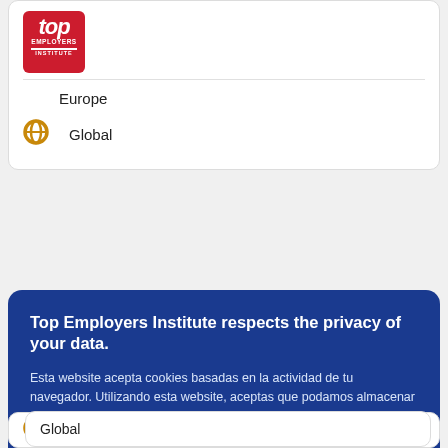[Figure (logo): Top Employers Institute logo — red rounded square with 'top' in white italic bold, 'EMPLOYERS' in white small caps, red bottom bar 'INSTITUTE']
Europe
[Figure (logo): Top Employers Institute circular icon (gold/amber color)]
Global
Top Employers Institute respects the privacy of your data.
Esta website acepta cookies basadas en la actividad de tu navegador. Utilizando esta website, aceptas que podamos almacenar y acceder cookies en tu dispositivo. Infórmate más sobre nuestra Declaración y Política de Privacidad y Cookie.
Acepto
[Figure (logo): Top Employers Institute circular icon (gold/amber color)]
Global